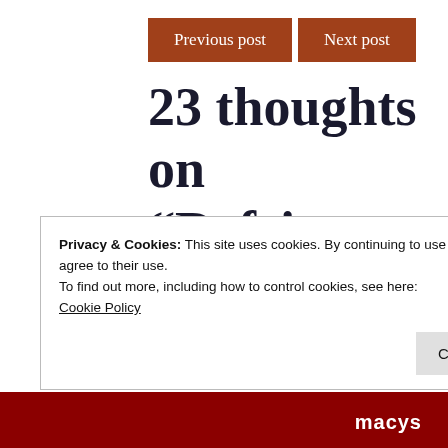Previous post | Next post
23 thoughts on “Refrigerator Bread & Butter Pickles”
Privacy & Cookies: This site uses cookies. By continuing to use this website, you agree to their use.
To find out more, including how to control cookies, see here:
Cookie Policy
Close and accept